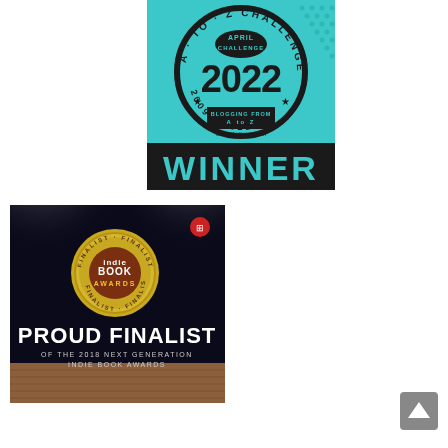[Figure (logo): A-to-Z Challenge 2022 Winner badge. Circular teal and black badge with text 'A-TO-Z CHALLENGE', 'APRIL CHALLENGE', '2022' in large numbers, 'BLOGGING FROM A TO Z', 'a-to-zchallenge.com', '2009-2022', with a black banner below reading 'WINNER' in large block letters.]
[Figure (logo): Indie Book Awards Proud Finalist badge. Dark background with spotlights, a gold seal reading 'FINALIST INDIE BOOK AWARDS' with the text 'PROUD FINALIST' in large white letters and 'OF THE 2018 NEXT GENERATION INDIE BOOK AWARDS' below.]